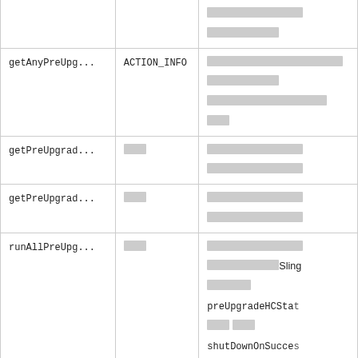| Method | Type | Description |
| --- | --- | --- |
| runAllPreUpg... |  | [redacted content] |
| getAnyPreUpg... | ACTION_INFO | [redacted content] |
| getPreUpgrad... | [redacted] | [redacted content] |
| getPreUpgrad... | [redacted] | [redacted content] |
| runAllPreUpg... | [redacted] | [redacted content with Sling, preUpgradeHCStat, shutDownOnSucces] |